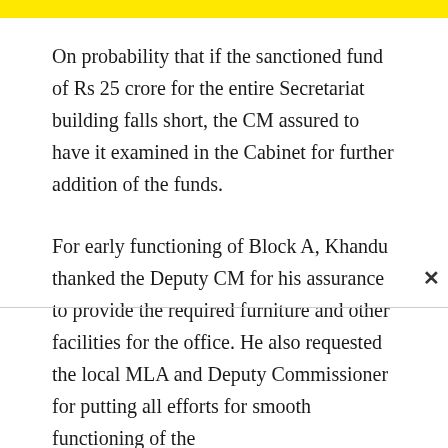[Figure (other): Yellow horizontal bar at top of page]
On probability that if the sanctioned fund of Rs 25 crore for the entire Secretariat building falls short, the CM assured to have it examined in the Cabinet for further addition of the funds.
For early functioning of Block A, Khandu thanked the Deputy CM for his assurance to provide the required furniture and other facilities for the office. He also requested the local MLA and Deputy Commissioner for putting all efforts for smooth functioning of the